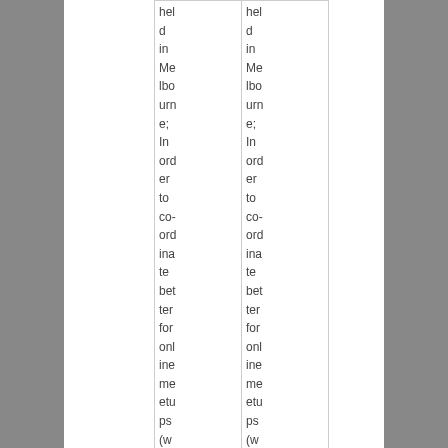| held in Melbourne; In order to co-ordinate better for online meetups (whic | held in Melbourne; In order to co-ordinate better for online meetups (whic |